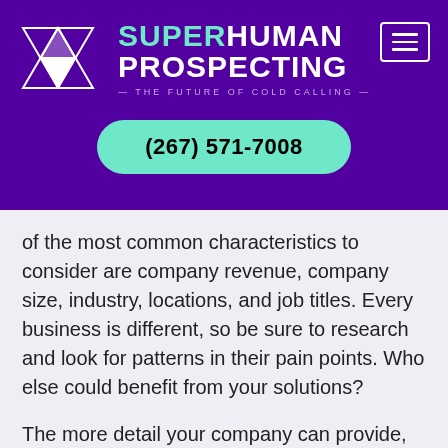[Figure (logo): Superhuman Prospecting logo with geometric triangle shapes and text 'SUPERHUMAN PROSPECTING — THE FUTURE OF COLD CALLING —' on a purple background, with a hamburger menu icon in the top right, and a teal phone number button reading '(267) 571-7008']
of the most common characteristics to consider are company revenue, company size, industry, locations, and job titles. Every business is different, so be sure to research and look for patterns in their pain points. Who else could benefit from your solutions?
The more detail your company can provide, the better you can pinpoint other